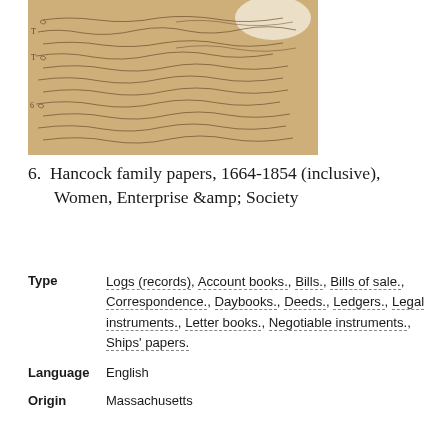[Figure (photo): Photograph of an old handwritten manuscript page in cursive script on yellowed/aged paper, showing colonial-era handwriting]
6.  Hancock family papers, 1664-1854 (inclusive), Women, Enterprise &amp; Society
Type   Logs (records), Account books., Bills., Bills of sale., Correspondence., Daybooks., Deeds., Ledgers., Legal instruments., Letter books., Negotiable instruments., Ships' papers.
Language   English
Origin   Massachusetts